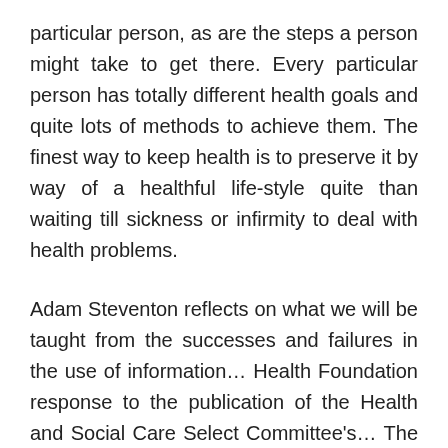particular person, as are the steps a person might take to get there. Every particular person has totally different health goals and quite lots of methods to achieve them. The finest way to keep health is to preserve it by way of a healthful life-style quite than waiting till sickness or infirmity to deal with health problems.
Adam Steventon reflects on what we will be taught from the successes and failures in the use of information... Health Foundation response to the publication of the Health and Social Care Select Committee's... The Food & Drug Administration has approved the Pfizer COVID-19 vaccine for people 5 years of age or older. To get hold of the vaccine in Florida, individuals 5-17 years of age have to be accompanied by